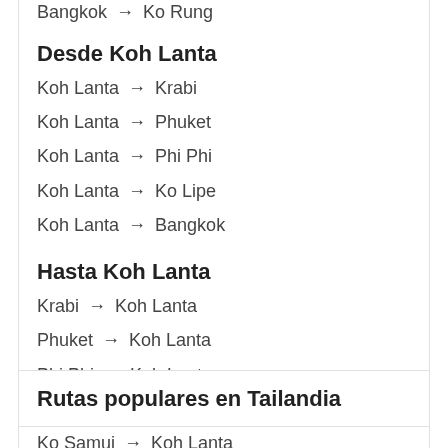Bangkok → Ko Rung
Desde Koh Lanta
Koh Lanta → Krabi
Koh Lanta → Phuket
Koh Lanta → Phi Phi
Koh Lanta → Ko Lipe
Koh Lanta → Bangkok
Hasta Koh Lanta
Krabi → Koh Lanta
Phuket → Koh Lanta
Phi Phi → Koh Lanta
Bangkok → Koh Lanta
Ko Samui → Koh Lanta
Rutas populares en Tailandia